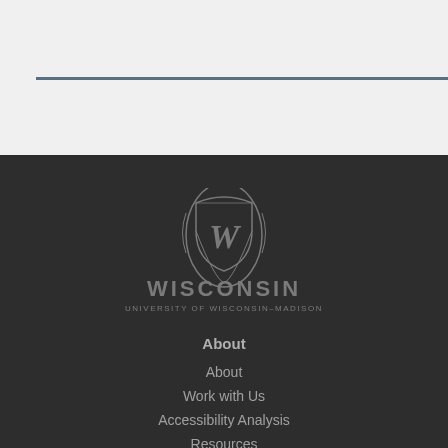[Figure (logo): University of Wisconsin-Madison crest logo with ornate shield containing a W, text WISCONSIN and UNIVERSITY OF WISCONSIN-MADISON below]
About
About
Work with Us
Accessibility Analysis
Resources